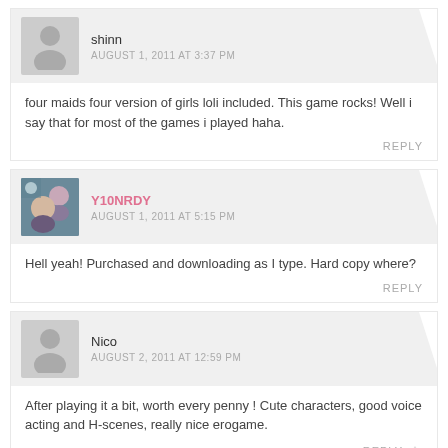shinn
AUGUST 1, 2011 AT 3:37 PM
four maids four version of girls loli included. This game rocks! Well i say that for most of the games i played haha.
REPLY
Y10NRDY
AUGUST 1, 2011 AT 5:15 PM
Hell yeah! Purchased and downloading as I type. Hard copy where?
REPLY
Nico
AUGUST 2, 2011 AT 12:59 PM
After playing it a bit, worth every penny ! Cute characters, good voice acting and H-scenes, really nice erogame.
REPLY